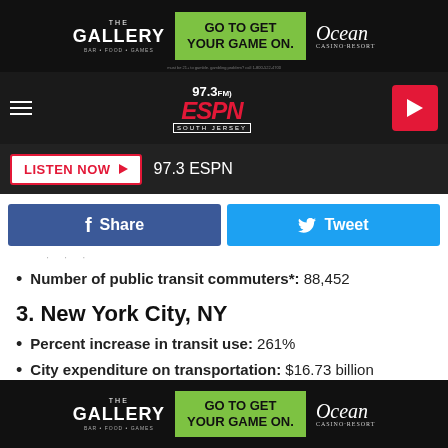[Figure (screenshot): Top advertisement banner for The Gallery casino with 'GO TO GET YOUR GAME ON.' text and Ocean Casino Resort logo on dark background]
[Figure (logo): 97.3 ESPN South Jersey radio station logo with navigation bar, hamburger menu, and red play button]
[Figure (screenshot): Listen Now button and 97.3 ESPN station label on dark background]
[Figure (screenshot): Facebook Share and Twitter Tweet social sharing buttons]
Number of public transit commuters*: 88,452
3. New York City, NY
Percent increase in transit use: 261%
City expenditure on transportation: $16.73 billion
Number of public transit commuters*: 2,965,491
2. Hartford, CT
[Figure (screenshot): Bottom advertisement banner for The Gallery casino with 'GO TO GET YOUR GAME ON.' text and Ocean Casino Resort logo]